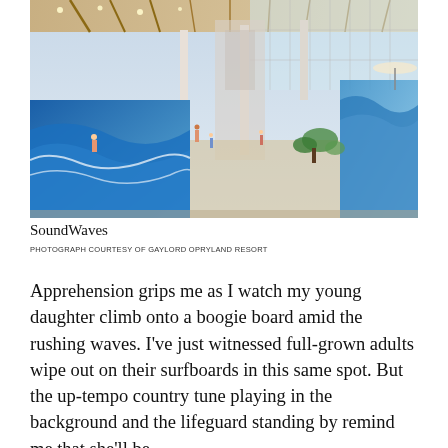[Figure (photo): Interior rendering of SoundWaves indoor water park at Gaylord Opryland Resort, showing wave pools, water slides, guests, and a large glass-roofed atrium with wooden ceiling beams and multiple water features.]
SoundWaves
PHOTOGRAPH COURTESY OF GAYLORD OPRYLAND RESORT
Apprehension grips me as I watch my young daughter climb onto a boogie board amid the rushing waves. I've just witnessed full-grown adults wipe out on their surfboards in this same spot. But the up-tempo country tune playing in the background and the lifeguard standing by remind me that she'll be